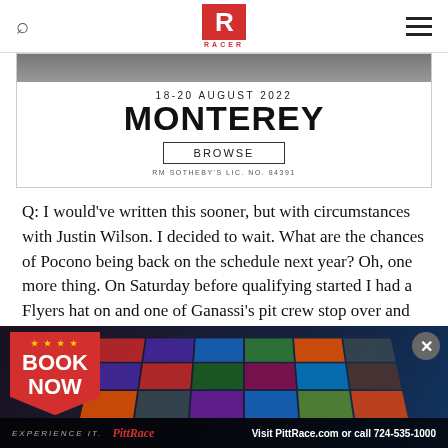RACER
[Figure (advertisement): RM Sotheby's Monterey auction ad: 18-20 AUGUST 2022, MONTEREY, BROWSE button, RM SOTHEBY'S LIC. NO. 84391]
Q: I would've written this sooner, but with circumstances with Justin Wilson. I decided to wait. What are the chances of Pocono being back on the schedule next year? Oh, one more thing. On Saturday before qualifying started I had a Flyers hat on and one of Ganassi's pit crew stop over and talk to me. We talk hockey for about five minutes. He was Penguins fan
[Figure (advertisement): PittRace BOOK NOW ad with colorful racing magazine tiles. Visit PittRace.com or call 724-535-1000]